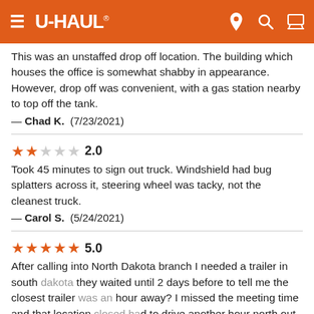U-HAUL
This was an unstaffed drop off location. The building which houses the office is somewhat shabby in appearance. However, drop off was convenient, with a gas station nearby to top off the tank.
— Chad K. (7/23/2021)
2.0
Took 45 minutes to sign out truck. Windshield had bug splatters across it, steering wheel was tacky, not the cleanest truck.
— Carol S. (5/24/2021)
5.0
After calling into North Dakota branch I needed a trailer in south dakota they waited until 2 days before to tell me the closest trailer was an hour away? I missed the meeting time and that location closed had to drive another hour north out of my way to get one from this location. Reservations should hold you a trailer period. If I book a